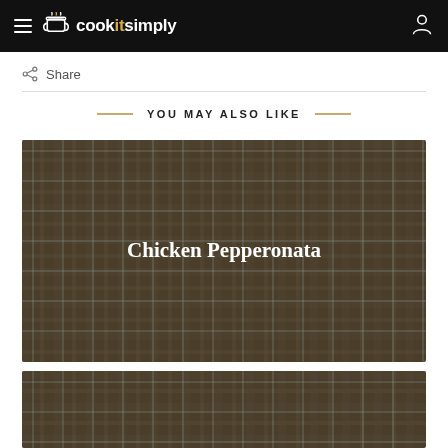cookitsimply
Share
YOU MAY ALSO LIKE
[Figure (photo): Plaid/tartan patterned image card with text 'Chicken Pepperonata' centered in white serif font over a dark olive-green and grey plaid background]
[Figure (photo): Partial plaid/tartan patterned image card (second recipe), same dark olive-green plaid background, partially visible at bottom of page]